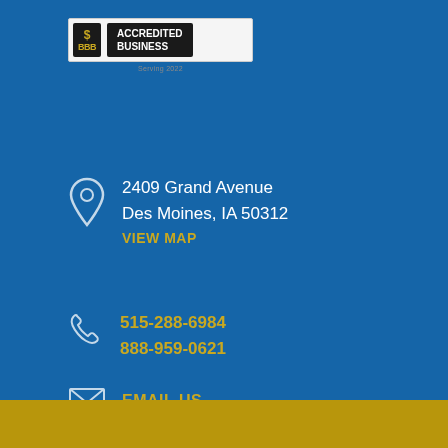[Figure (logo): BBB Accredited Business logo badge]
2409 Grand Avenue
Des Moines, IA 50312
VIEW MAP
515-288-6984
888-959-0621
EMAIL US
[Figure (other): Social media icons: Facebook, YouTube, LinkedIn, Twitter]
© 2022 Benchmark Business Group. All rights reserved.